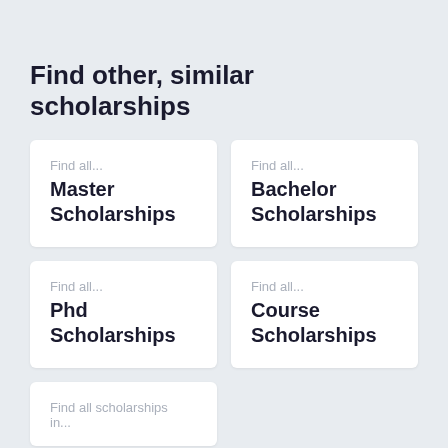Find other, similar scholarships
Find all... Master Scholarships
Find all... Bachelor Scholarships
Find all... Phd Scholarships
Find all... Course Scholarships
Find all scholarships in...